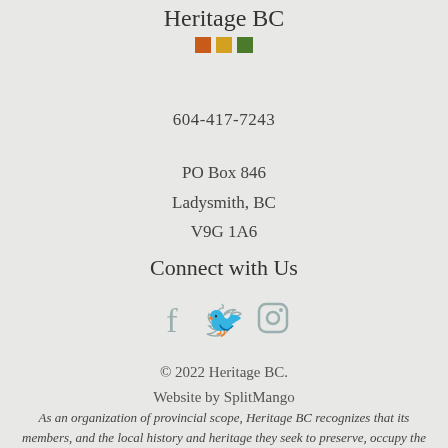[Figure (logo): Heritage BC logo with text 'Heritage BC' and three colored squares: orange, yellow, green]
604-417-7243
PO Box 846
Ladysmith, BC
V9G 1A6
Connect with Us
[Figure (infographic): Social media icons: Facebook (f), Twitter (bird), Instagram (camera)]
© 2022 Heritage BC.
Website by SplitMango
As an organization of provincial scope, Heritage BC recognizes that its members, and the local history and heritage they seek to preserve, occupy the lands and territories of B.C.'s Indigenous peoples. Heritage BC asks its members and everyone working in the heritage sector to reflect on the places where they reside and work, and to connect the